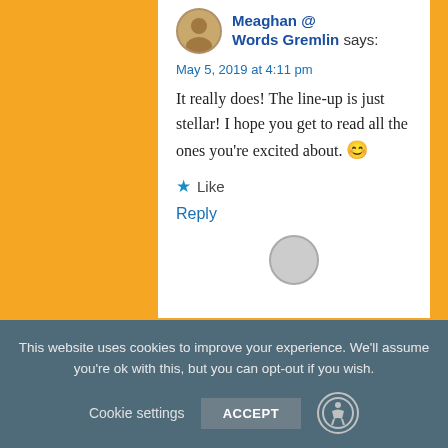Meaghan @ Words Gremlin says:
May 5, 2019 at 4:11 pm
It really does! The line-up is just stellar! I hope you get to read all the ones you're excited about. 😊
★ Like
Reply
This website uses cookies to improve your experience. We'll assume you're ok with this, but you can opt-out if you wish.
Cookie settings
ACCEPT